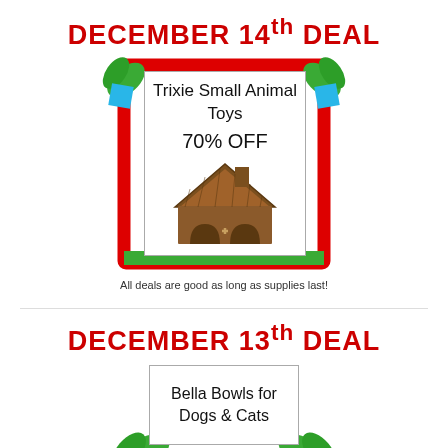DECEMBER 14th DEAL
[Figure (illustration): Product deal card for Trixie Small Animal Toys at 70% OFF, shown with a wooden toy house. Surrounded by decorative red border with green leaves and blue diamond shapes.]
All deals are good as long as supplies last!
DECEMBER 13th DEAL
[Figure (illustration): Product deal card for Bella Bowls for Dogs & Cats, partially shown with decorative green leaves.]